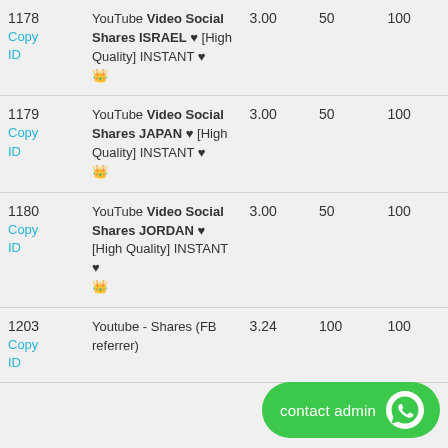| ID | Description | Price | Min | Max |
| --- | --- | --- | --- | --- |
| 1178
Copy ID | YouTube Video Social Shares ISRAEL ♥ [High Quality] INSTANT ♥ 👑 | 3.00 | 50 | 100 |
| 1179
Copy ID | YouTube Video Social Shares JAPAN ♥ [High Quality] INSTANT ♥ 👑 | 3.00 | 50 | 100 |
| 1180
Copy ID | YouTube Video Social Shares JORDAN ♥ [High Quality] INSTANT ♥ 👑 | 3.00 | 50 | 100 |
| 1203
Copy ID | Youtube - Shares (FB referrer) | 3.24 | 100 | 100 |